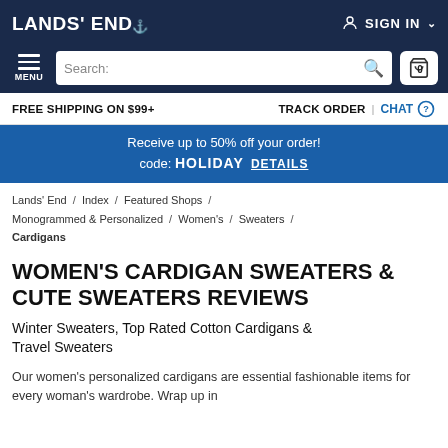LANDS' END  SIGN IN
MENU  Search:  0
FREE SHIPPING ON $99+   TRACK ORDER | CHAT
Receive up to 50% off your order! code: HOLIDAY  DETAILS
Lands' End / Index / Featured Shops / Monogrammed & Personalized / Women's / Sweaters / Cardigans
WOMEN'S CARDIGAN SWEATERS & CUTE SWEATERS REVIEWS
Winter Sweaters, Top Rated Cotton Cardigans & Travel Sweaters
Our women's personalized cardigans are essential fashionable items for every woman's wardrobe. Wrap up in